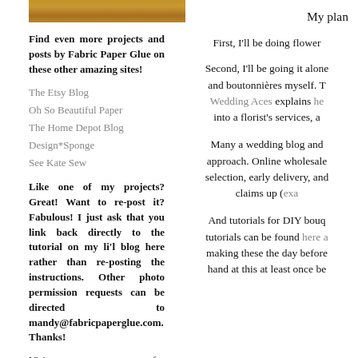[Figure (photo): Partial photo strip showing wood or amber-colored texture at top of left column]
Find even more projects and posts by Fabric Paper Glue on these other amazing sites!
The Etsy Blog
Oh So Beautiful Paper
The Home Depot Blog
Design*Sponge
See Kate Sew
Like one of my projects? Great! Want to re-post it? Fabulous! I just ask that you link back directly to the tutorial on my li'l blog here rather than re-posting the instructions. Other photo permission requests can be directed to mandy@fabricpaperglue.com. Thanks!
Visit my sponsor page for information on sponsorship opportunities and how I use
My plan
First, I'll be doing flower
Second, I'll be going it alone and boutonnières myself. T Wedding Aces explains he into a florist's services, a
Many a wedding blog and approach. Online wholesale selection, early delivery, and claims up (exa
And tutorials for DIY bouq tutorials can be found here a making these the day before hand at this at least once be